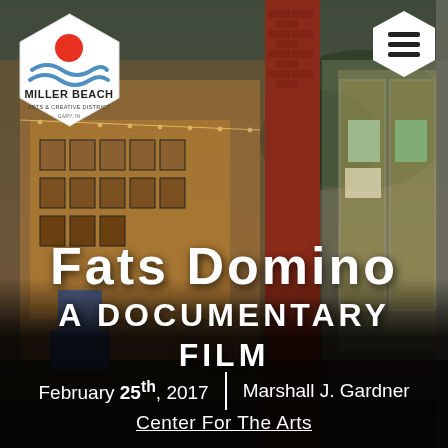[Figure (photo): Background photo of Miller Beach Arts & Creative District storefront/gallery with glass doors and red brick, warm interior lighting visible]
[Figure (logo): Miller Beach Arts & Creative District hexagon logo with red sun and blue waves, text reading MILLER BEACH ARTS & CREATIVE DISTRICT GARY, IN]
Fats Domino A Documentary Film
February 25th, 2017   Marshall J. Gardner Center For The Arts